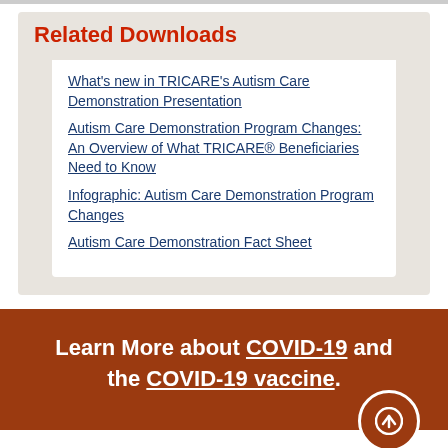Related Downloads
What's new in TRICARE's Autism Care Demonstration Presentation
Autism Care Demonstration Program Changes: An Overview of What TRICARE® Beneficiaries Need to Know
Infographic: Autism Care Demonstration Program Changes
Autism Care Demonstration Fact Sheet
Learn More about COVID-19 and the COVID-19 vaccine.
Email Updates